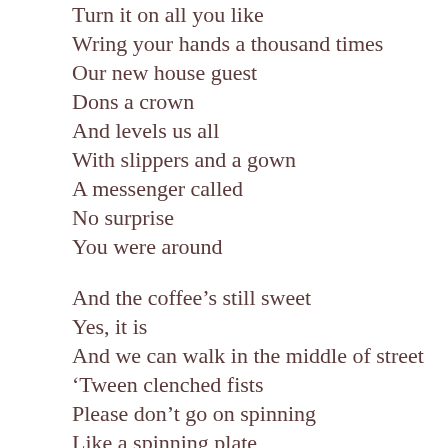Turn it on all you like
Wring your hands a thousand times
Our new house guest
Dons a crown
And levels us all
With slippers and a gown
A messenger called
No surprise
You were around

And the coffee's still sweet
Yes, it is
And we can walk in the middle of street
'Tween clenched fists
Please don't go on spinning
Like a spinning plate
The moment is dying at the gate